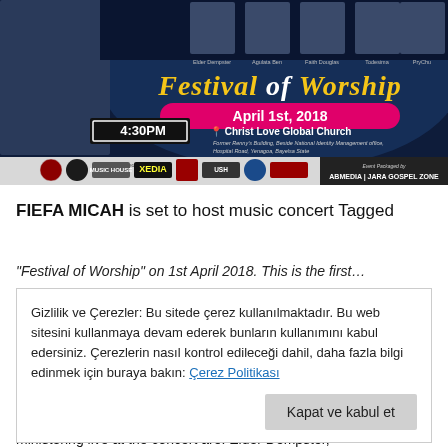[Figure (photo): Festival of Worship event banner. Shows photos of performers including Elder Dempster, Agulata Ben, Faith Douglas, Todesima, PryChu. Text reads 'Festival of Worship', 'April 1st, 2018', '4:30PM', 'Christ Love Global Church, Former Renny's Building, Beside National Identity Management office, Hospital Road, Yenagoa, Bayelsa State'. Bottom shows 'Event Powered By' with sponsor logos and 'Event Packaged by ABMEDIA | JARA GOSPEL ZONE'.]
FIEFA MICAH is set to host music concert Tagged
“Festival of Worship” on 1st April 2018. This is the first…
Gizlilik ve Çerezler: Bu sitede çerez kullanılmaktadır. Bu web sitesini kullanmaya devam ederek bunların kullanımını kabul edersiniz. Çerezlerin nasıl kontrol edileceği dahil, daha fazla bilgi edinmek için buraya bakın: Çerez Politikası
Kapat ve kabul et
ministering live at the concert are: Elder Dempster,